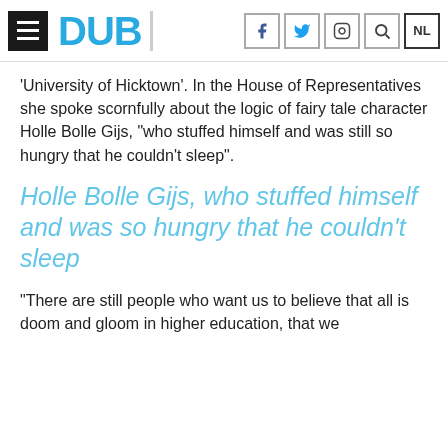DUB
'University of Hicktown'. In the House of Representatives she spoke scornfully about the logic of fairy tale character Holle Bolle Gijs, "who stuffed himself and was still so hungry that he couldn't sleep".
Holle Bolle Gijs, who stuffed himself and was so hungry that he couldn't sleep
"There are still people who want us to believe that all is doom and gloom in higher education, that we